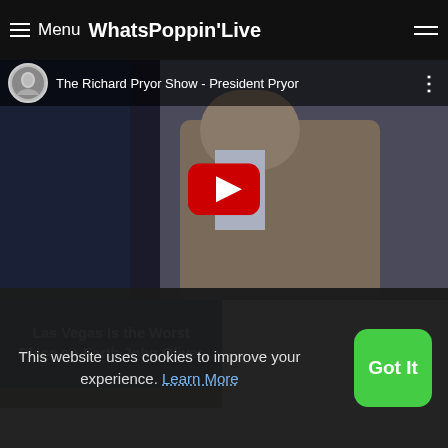≡ Menu WhatsPoppinʼLive
[Figure (screenshot): YouTube video thumbnail for 'The Richard Pryor Show - President Pryor' with red play button overlay and channel avatar]
Las Vegas Is the Worst Place on Earth John Oliver
This website uses cookies to improve your experience. Learn More